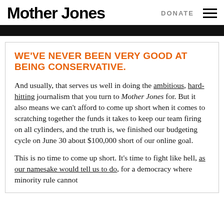Mother Jones   DONATE
WE'VE NEVER BEEN VERY GOOD AT BEING CONSERVATIVE.
And usually, that serves us well in doing the ambitious, hard-hitting journalism that you turn to Mother Jones for. But it also means we can't afford to come up short when it comes to scratching together the funds it takes to keep our team firing on all cylinders, and the truth is, we finished our budgeting cycle on June 30 about $100,000 short of our online goal.
This is no time to come up short. It's time to fight like hell, as our namesake would tell us to do, for a democracy where minority rule cannot